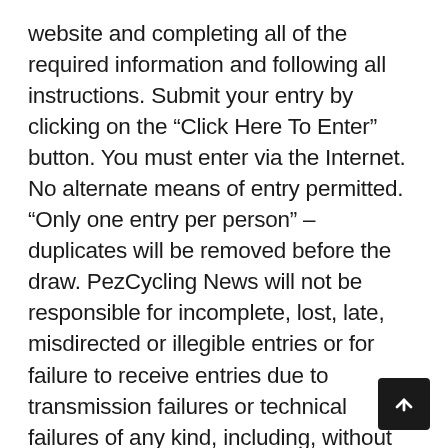website and completing all of the required information and following all instructions. Submit your entry by clicking on the “Click Here To Enter” button. You must enter via the Internet. No alternate means of entry permitted. “Only one entry per person” – duplicates will be removed before the draw. PezCycling News will not be responsible for incomplete, lost, late, misdirected or illegible entries or for failure to receive entries due to transmission failures or technical failures of any kind, including, without limitation, malfunctioning of any network, hardware or software, whether originating with sender or sponsor. In the event of a dispute, all email entries will be deemed to have been